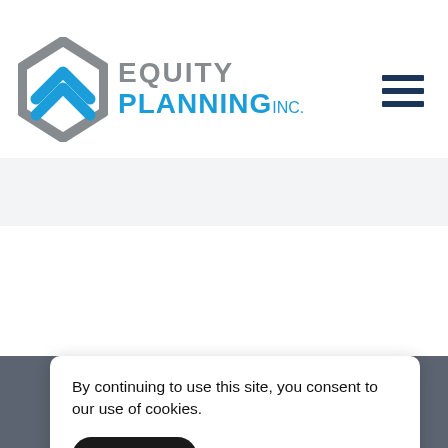[Figure (logo): Equity Planning Inc. logo with diamond/arrow icon in blue and grey]
[Figure (other): Hamburger menu icon with three dark horizontal bars]
[Figure (other): Blue button partially visible at top left]
By continuing to use this site, you consent to our use of cookies.
ACCEPT